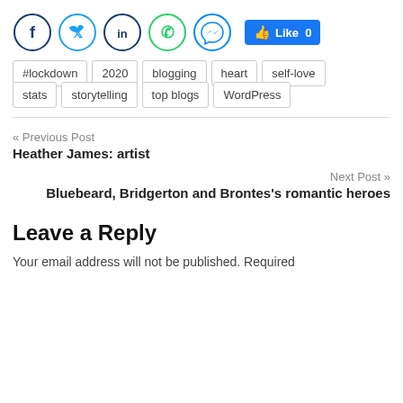[Figure (infographic): Social media share icons: Facebook (dark blue circle), Twitter (light blue circle), LinkedIn (dark blue circle), WhatsApp (green circle), Messenger (blue gradient circle), and a Facebook Like button showing 0 likes]
#lockdown
2020
blogging
heart
self-love
stats
storytelling
top blogs
WordPress
« Previous Post
Heather James: artist
Next Post »
Bluebeard, Bridgerton and Brontes's romantic heroes
Leave a Reply
Your email address will not be published. Required fields are marked *